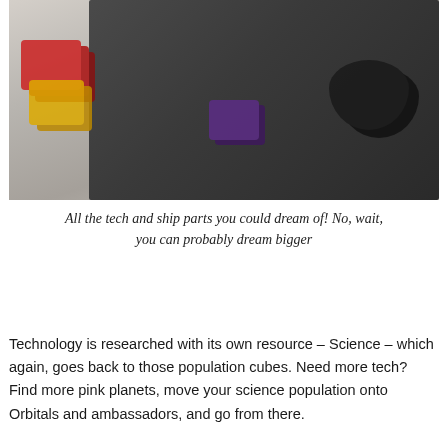[Figure (photo): A top-down photograph of a board game in progress showing a gray game board, red and yellow dice on the left, purple cubes in the center, black token stacks on the right, and various game components including cards and markers]
All the tech and ship parts you could dream of! No, wait, you can probably dream bigger
Technology is researched with its own resource – Science – which again, goes back to those population cubes. Need more tech? Find more pink planets, move your science population onto Orbitals and ambassadors, and go from there.